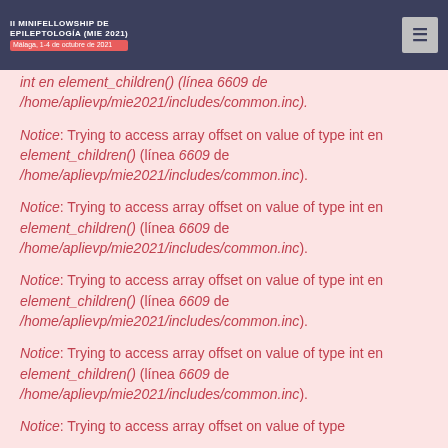II MINIFELLOWSHIP DE EPILEPTOLOGÍA (MIE 2021) Málaga, 1-4 de octubre de 2021
int en element_children() (línea 6609 de /home/aplievp/mie2021/includes/common.inc).
Notice: Trying to access array offset on value of type int en element_children() (línea 6609 de /home/aplievp/mie2021/includes/common.inc).
Notice: Trying to access array offset on value of type int en element_children() (línea 6609 de /home/aplievp/mie2021/includes/common.inc).
Notice: Trying to access array offset on value of type int en element_children() (línea 6609 de /home/aplievp/mie2021/includes/common.inc).
Notice: Trying to access array offset on value of type int en element_children() (línea 6609 de /home/aplievp/mie2021/includes/common.inc).
Notice: Trying to access array offset on value of type int en element_children() (línea 6609 de